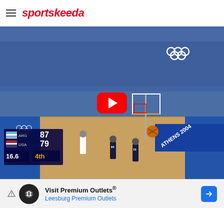sportskeeda
[Figure (screenshot): Basketball game video thumbnail from the 2004 Athens Olympics showing Argentina vs USA game with score ARG 87 - USA 79, 16.6 seconds left in 4th quarter. YouTube play button overlay visible. Score shows ARG 87, USA 79, time 16.6, 4th quarter.]
[Figure (photo): Advertisement banner: Visit Premium Outlets® Leesburg Premium Outlets with black circular logo and blue arrow button]